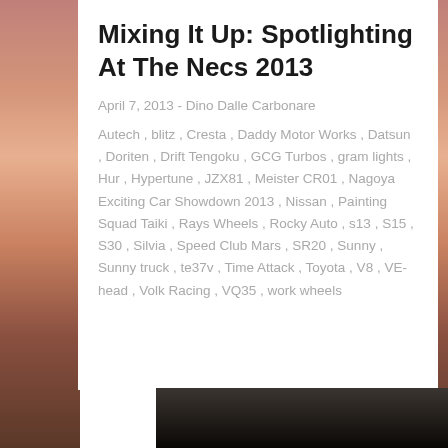Mixing It Up: Spotlighting At The Necs 2013
April 7, 2013 - Dino Dalle Carbonare
Autech , blitz , Cresta , Daddy Motor Works , Datsun , Doriten , Drift Tengoku , GCG Turbos , gram lights , Hur , Hypertune , JZX81 , Meister CR01 , Nagoya Exciting Car Showdown 2013 , Nissan , Painting Squad Taiki , Rays Wheels , Rocky Auto , s13 , S15 , S30 , Silvia , Speed Club Mars , SR20 , Sunny , Sunny truck , te37v , Time Attack , Toyota , V8 , VE-head , Volk Racing , VQ35 , work wheels
[Figure (photo): Dark outdoor night/dusk scene, bottom strip of page]